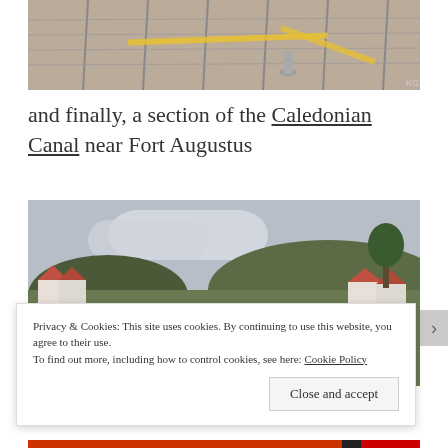[Figure (photo): Top portion of a photo showing a fenced gravel area with yellow markings, partially cropped. KG watermark visible.]
and finally, a section of the Caledonian Canal near Fort Augustus
[Figure (photo): Photo of the Caledonian Canal locks near Fort Augustus, Scotland. Stone lock steps descend to the canal with houses and hills on both sides under a cloudy sky.]
Privacy & Cookies: This site uses cookies. By continuing to use this website, you agree to their use.
To find out more, including how to control cookies, see here: Cookie Policy